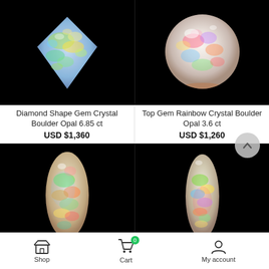[Figure (photo): Diamond Shape Gem Crystal Boulder Opal gemstone on black background, showing multi-color iridescent fire with blue, green, and yellow hues, diamond/square shape]
[Figure (photo): Top Gem Rainbow Crystal Boulder Opal gemstone on black background, showing round sphere shape with rainbow iridescent fire in red, blue, pink, green hues]
Diamond Shape Gem Crystal Boulder Opal 6.85 ct
Top Gem Rainbow Crystal Boulder Opal 3.6 ct
USD $1,360
USD $1,260
[Figure (photo): Elongated teardrop/freeform opal gemstone on black background, showing intense green, orange, red, and blue fire play across the surface]
[Figure (photo): Elongated narrow teardrop opal gemstone on black background, showing green, yellow, blue, and red fire play - slightly narrower than the left stone]
Shop   Cart   My account